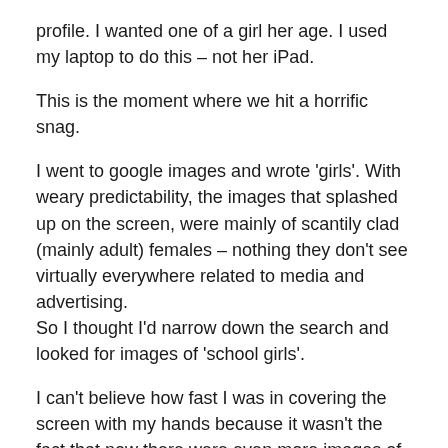profile. I wanted one of a girl her age. I used my laptop to do this – not her iPad.
This is the moment where we hit a horrific snag.
I went to google images and wrote 'girls'. With weary predictability, the images that splashed up on the screen, were mainly of scantily clad (mainly adult) females – nothing they don't see virtually everywhere related to media and advertising.
So I thought I'd narrow down the search and looked for images of 'school girls'.
I can't believe how fast I was in covering the screen with my hands because it wasn't the fact that now there were even more images of (mainly adult) females in their hyper-sexualised 'school uniforms' – it was that the second